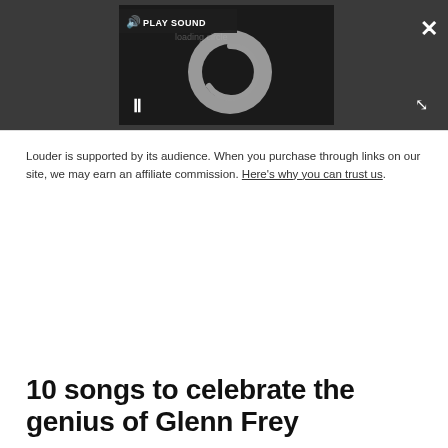[Figure (screenshot): Media player interface with dark background showing a loading spinner circle, a 'PLAY SOUND' button with speaker icon, a pause button (||), a close (X) button, and an expand arrows button.]
Louder is supported by its audience. When you purchase through links on our site, we may earn an affiliate commission. Here's why you can trust us.
10 songs to celebrate the genius of Glenn Frey